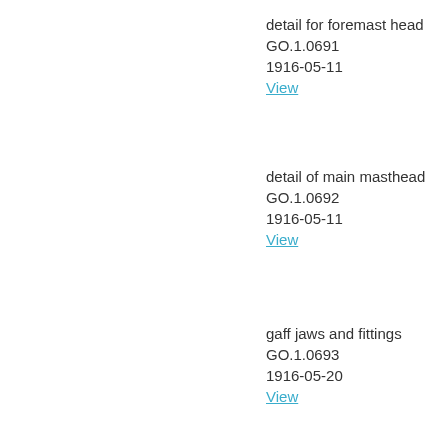detail for foremast head
GO.1.0691
1916-05-11
View
detail of main masthead
GO.1.0692
1916-05-11
View
gaff jaws and fittings
GO.1.0693
1916-05-20
View